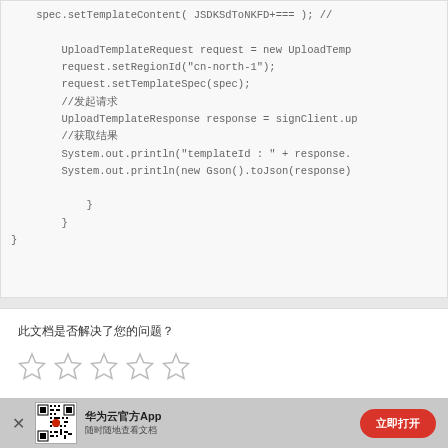spec.setTemplateContent( JSDKSdToNKFD+===  ); //

    UploadTemplateRequest request = new UploadTemp
    request.setRegionId("cn-north-1");
    request.setTemplateSpec(spec);
    //发起请求
    UploadTemplateResponse response = signClient.up
    //获取结果
    System.out.println("templateId : " + response.
    System.out.println(new Gson().toJson(response)

        }
    }
}
此文档是否解决了您的问题？
[Figure (other): Five empty star rating icons]
[Figure (other): Bottom banner with QR code, app name in Chinese, subtitle in Chinese, and a red open/download button]